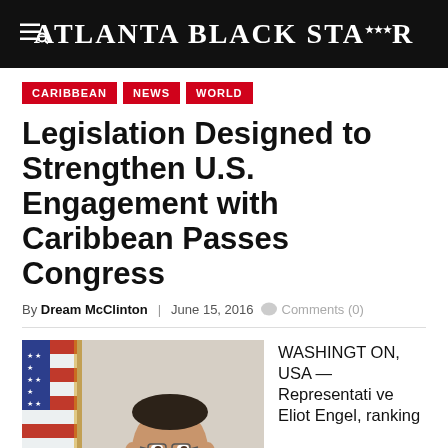Atlanta Black Star
CARIBBEAN
NEWS
WORLD
Legislation Designed to Strengthen U.S. Engagement with Caribbean Passes Congress
By Dream McClinton | June 15, 2016 Comments (0)
[Figure (photo): Man in suit smiling, with American flag in background]
WASHINGTON, USA — Representative Eliot Engel, ranking